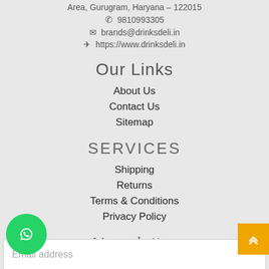Area, Gurugram, Haryana – 122015
📞 9810993305
✉ brands@drinksdeli.in
✈ https://www.drinksdeli.in
Our Links
About Us
Contact Us
Sitemap
SERVICES
Shipping
Returns
Terms & Conditions
Privacy Policy
Newsletter
Email address